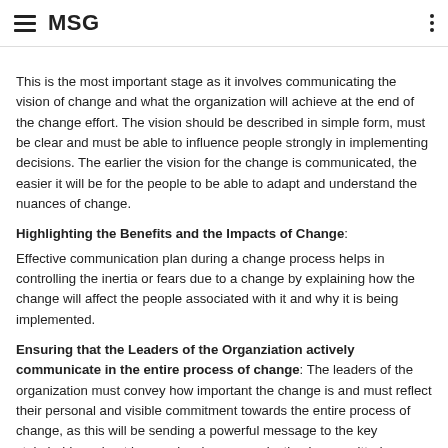MSG
This is the most important stage as it involves communicating the vision of change and what the organization will achieve at the end of the change effort. The vision should be described in simple form, must be clear and must be able to influence people strongly in implementing decisions. The earlier the vision for the change is communicated, the easier it will be for the people to be able to adapt and understand the nuances of change.
Highlighting the Benefits and the Impacts of Change:
Effective communication plan during a change process helps in controlling the inertia or fears due to a change by explaining how the change will affect the people associated with it and why it is being implemented.
Ensuring that the Leaders of the Organziation actively communicate in the entire process of change:
The leaders of the organization must convey how important the change is and must reflect their personal and visible commitment towards the entire process of change, as this will be sending a powerful message to the key stakeholders about how seriously an organization is committed towards the implementation of change.